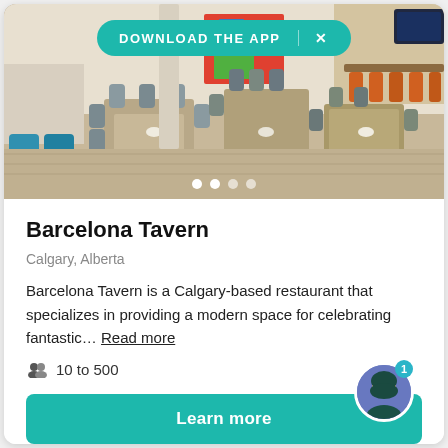[Figure (photo): Interior photo of Barcelona Tavern restaurant showing tables, chairs, bar area with orange stools, colorful artwork on wall, open kitchen in background. A teal 'DOWNLOAD THE APP' banner overlay with X close button appears at the top of the image, and four navigation dots appear at the bottom.]
Barcelona Tavern
Calgary, Alberta
Barcelona Tavern is a Calgary-based restaurant that specializes in providing a modern space for celebrating fantastic… Read more
10 to 500
Learn more